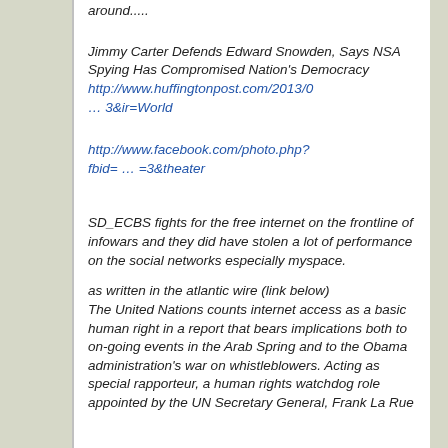around.....
Jimmy Carter Defends Edward Snowden, Says NSA Spying Has Compromised Nation's Democracy http://www.huffingtonpost.com/2013/0... 3&ir=World
http://www.facebook.com/photo.php?fbid= ... =3&theater
SD_ECBS fights for the free internet on the frontline of infowars and they did have stolen a lot of performance on the social networks especially myspace.
as written in the atlantic wire (link below)
The United Nations counts internet access as a basic human right in a report that bears implications both to on-going events in the Arab Spring and to the Obama administration's war on whistleblowers. Acting as special rapporteur, a human rights watchdog role appointed by the UN Secretary General, Frank La Rue...